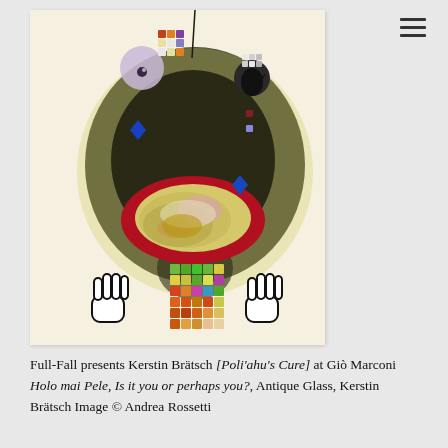[Figure (illustration): Artwork by Kerstin Brätsch showing an abstract figure with a large dark aura, a wide open red mouth with patterned interior, colorful geometric square clusters at top and bottom, two white gloved hands at bottom left and right, and floating face-like elements at the top. The background is cream/off-white. The work is rendered in mixed media with bold outlines and vivid color patches.]
Full-Fall presents Kerstin Brätsch [Poli'ahu's Cure] at Giò Marconi Holo mai Pele, Is it you or perhaps you?, Antique Glass, Kerstin Brätsch Image © Andrea Rossetti